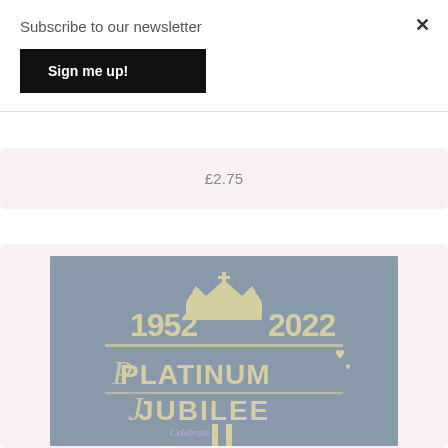Subscribe to our newsletter
Sign me up!
×
£2.75
[Figure (photo): Wooden laser-cut Platinum Jubilee cake topper showing '1952 2022 PLATINUM JUBILEE' with crown decoration on a grey background]